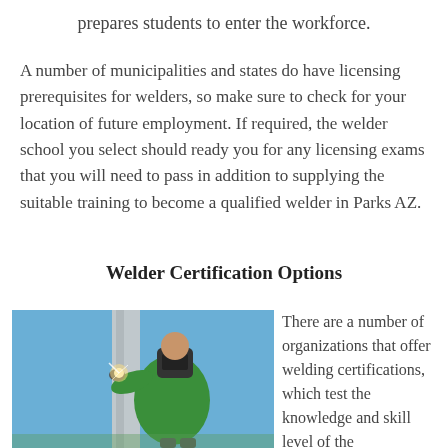prepares students to enter the workforce.
A number of municipalities and states do have licensing prerequisites for welders, so make sure to check for your location of future employment. If required, the welder school you select should ready you for any licensing exams that you will need to pass in addition to supplying the suitable training to become a qualified welder in Parks AZ.
Welder Certification Options
[Figure (photo): A welder wearing a green shirt and welding helmet working on a metal structure outdoors against a blue sky background, with visible welding spark.]
There are a number of organizations that offer welding certifications, which test the knowledge and skill level of the